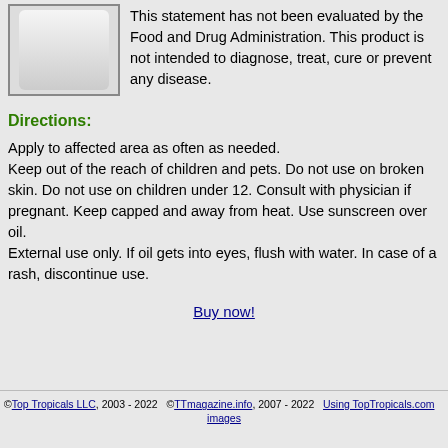[Figure (photo): Product bottle image, partially visible, white/grey bottle on light background]
This statement has not been evaluated by the Food and Drug Administration. This product is not intended to diagnose, treat, cure or prevent any disease.
Directions:
Apply to affected area as often as needed.
Keep out of the reach of children and pets. Do not use on broken skin. Do not use on children under 12. Consult with physician if pregnant. Keep capped and away from heat. Use sunscreen over oil.
External use only. If oil gets into eyes, flush with water. In case of a rash, discontinue use.
Buy now!
©Top Tropicals LLC, 2003 - 2022   ©TTmagazine.info, 2007 - 2022   Using TopTropicals.com images